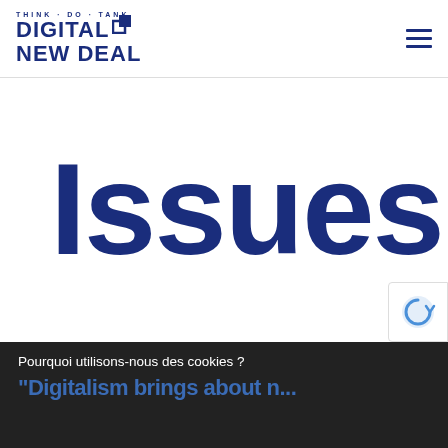THINK-DO-TANK DIGITAL NEW DEAL
Issues
[Figure (logo): reCAPTCHA logo badge in bottom right corner]
Pourquoi utilisons-nous des cookies ?
"Digitalism brings about n...